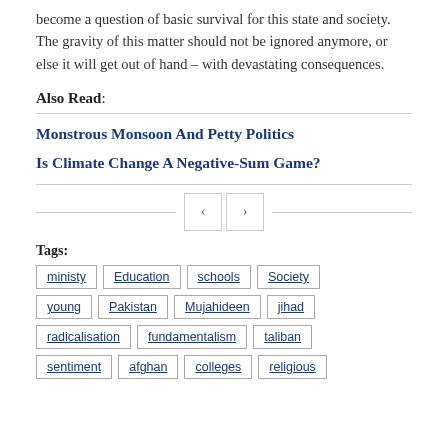become a question of basic survival for this state and society. The gravity of this matter should not be ignored anymore, or else it will get out of hand – with devastating consequences.
Also Read:
Monstrous Monsoon And Petty Politics
Is Climate Change A Negative-Sum Game?
Tags: ministy  Education  schools  Society  young  Pakistan  Mujahideen  jihad  radicalisation  fundamentalism  taliban  sentiment  afghan  colleges  religious